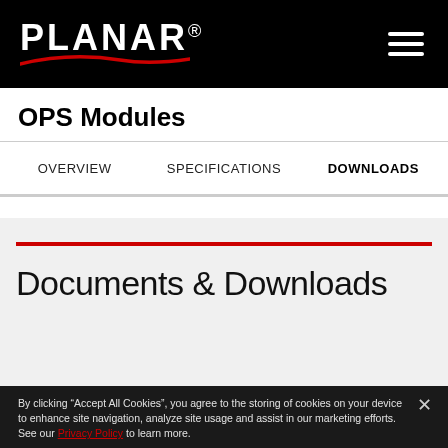PLANAR
OPS Modules
OVERVIEW   SPECIFICATIONS   DOWNLOADS
Documents & Downloads
By clicking “Accept All Cookies”, you agree to the storing of cookies on your device to enhance site navigation, analyze site usage and assist in our marketing efforts. See our Privacy Policy to learn more.